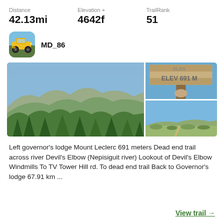Distance
42.13mi
Elevation +
4642f
TrailRank
51
MD_86
[Figure (photo): Three outdoor trail photos: left large photo shows forested mountain landscape with evergreen trees and rolling hills; top right shows a wooden elevation sign reading ELEV 691 M; bottom right shows an open hilltop trail view with blue sky.]
Left governor's lodge Mount Leclerc 691 meters Dead end trail across river Devil's Elbow (Nepisiguit river) Lookout of Devil's Elbow Windmills To TV Tower Hill rd. To dead end trail Back to Governor's lodge 67.91 km ...
View trail →